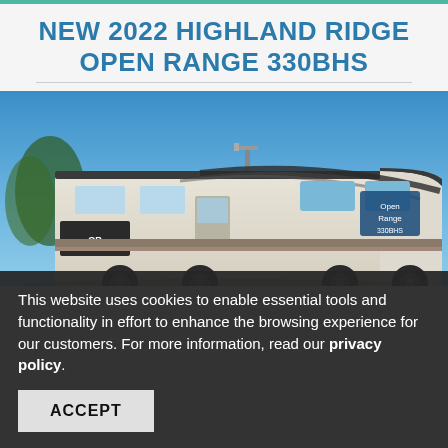NEW 2022 HIGHLAND RIDGE OPEN RANGE 330BHS
[Figure (photo): Exterior photo of a 2022 Highland Ridge Open Range 330BHS travel trailer RV parked outdoors under a clear blue sky]
This website uses cookies to enable essential tools and functionality in effort to enhance the browsing experience for our customers. For more information, read our privacy policy.
ACCEPT